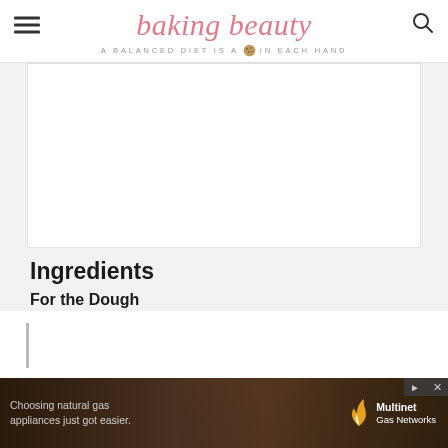baking beauty — A BALANCED DIET IS A 🍪 IN EACH HAND
[Figure (photo): White rectangular content area placeholder (blank white box)]
Ingredients
For the Dough
[Figure (photo): Advertisement banner: Choosing natural gas appliances just got easier. Multinet Gas Networks.]